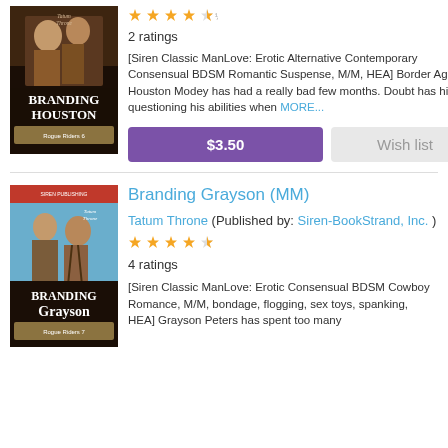[Figure (illustration): Book cover for Branding Houston by Tatum Throne, Rogue Riders 6, showing two male figures]
2 ratings
[Siren Classic ManLove: Erotic Alternative Contemporary Consensual BDSM Romantic Suspense, M/M, HEA] Border Agent Houston Modey has had a really bad few months. Doubt has him questioning his abilities when MORE...
$3.50
Wish list
[Figure (illustration): Book cover for Branding Grayson by Tatum Throne, Rogue Riders 7, showing two male figures]
Branding Grayson (MM)
Tatum Throne (Published by: Siren-BookStrand, Inc. )
4 ratings
[Siren Classic ManLove: Erotic Consensual BDSM Cowboy Romance, M/M, bondage, flogging, sex toys, spanking, HEA] Grayson Peters has spent too many